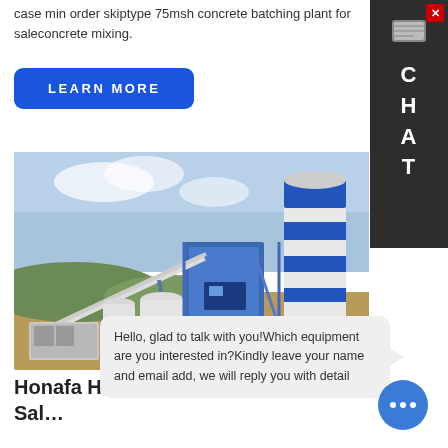case min order skiptype 75msh concrete batching plant for saleconcrete mixing.
LEARN MORE
[Figure (photo): Honafa HZS75 concrete batching plant / concrete mixer facility showing large blue and white cylindrical silo, conveyor belt, mixing equipment, and control room buildings on an open construction site.]
Honafa HZS75 Concrete Mixers For Sale
Hello, glad to talk with you!Which equipment are you interested in?Kindly leave your name and email add, we will reply you with detail
Honafa HZS75 Concrete Mixers For Sale: More details